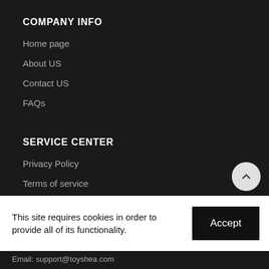COMPANY INFO
Home page
About US
Contact US
FAQs
SERVICE CENTER
Privacy Policy
Terms of service
Shipping policy
Refund policy
This site requires cookies in order to provide all of its functionality.
Accept
Email: support@toyshea.com